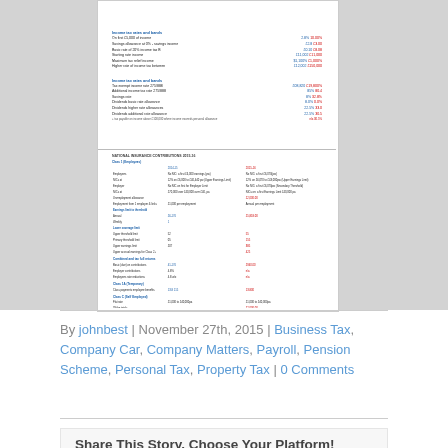[Figure (screenshot): Two overlapping document page thumbnails showing tax rate tables and national insurance contribution tables for 2015-16]
By johnbest | November 27th, 2015 | Business Tax, Company Car, Company Matters, Payroll, Pension Scheme, Personal Tax, Property Tax | 0 Comments
Share This Story, Choose Your Platform!